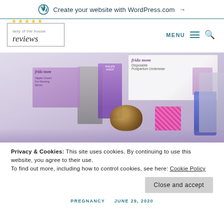Create your website with WordPress.com →
[Figure (logo): Lady of the House Reviews logo with stars and box border]
[Figure (photo): Photo of postpartum/maternity products including Frida Mom disposable underwear box, Philips Avent item, and various other packaged products in a box]
Privacy & Cookies: This site uses cookies. By continuing to use this website, you agree to their use.
To find out more, including how to control cookies, see here: Cookie Policy
PREGNANCY   JUNE 29, 2020